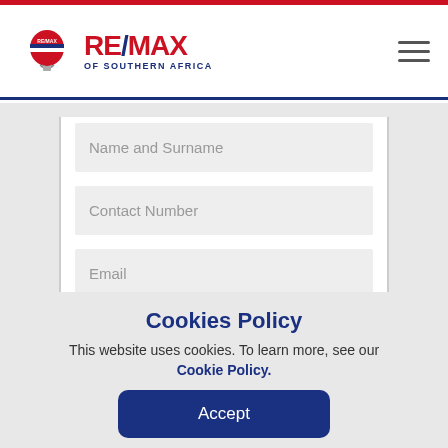[Figure (logo): RE/MAX of Southern Africa logo with hot air balloon icon]
[Figure (other): Hamburger menu icon (three horizontal lines)]
Name and Surname
Contact Number
Email
Please contact me regarding this
Cookies Policy
This website uses cookies. To learn more, see our
Cookie Policy.
Accept